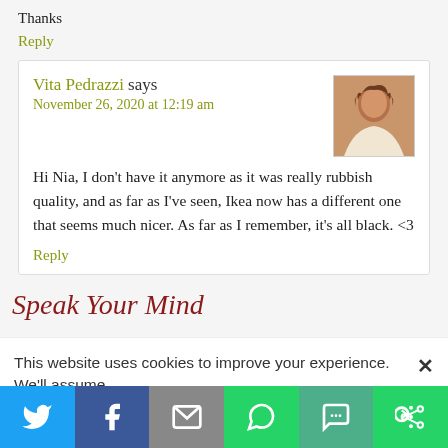Thanks
Reply
Vita Pedrazzi says
November 26, 2020 at 12:19 am
Hi Nia, I don't have it anymore as it was really rubbish quality, and as far as I've seen, Ikea now has a different one that seems much nicer. As far as I remember, it's all black. <3
Reply
Speak Your Mind
This website uses cookies to improve your experience. We'll assume
[Figure (infographic): Social media share bar with Twitter, Facebook, Email, WhatsApp, SMS, and More buttons]